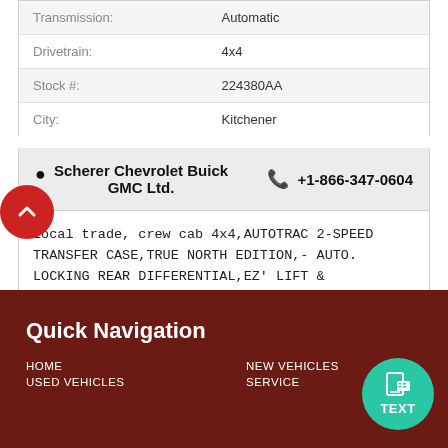| Transmission: | Automatic |
| Drivetrain: | 4x4 |
| Stock #: | 224380AA |
| City: | Kitchener |
Scherer Chevrolet Buick GMC Ltd.    +1-866-347-0604
Local trade, crew cab 4x4,AUTOTRAC 2-SPEED TRANSFER CASE,TRUE NORTH EDITION,- AUTO. LOCKING REAR DIFFERENTIAL,EZ' LIFT & TAILGATE,FRONT FOG LAMPS, HEATED FRONT SEATS,ECOTEC3 5.3L DI V8, VVT, AFM, and much more!
Quick Navigation
HOME
NEW VEHICLES
USED VEHICLES
SERVICE